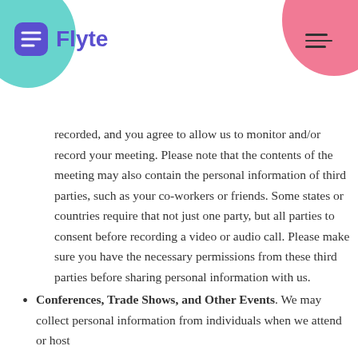Flyte
recorded, and you agree to allow us to monitor and/or record your meeting. Please note that the contents of the meeting may also contain the personal information of third parties, such as your co-workers or friends. Some states or countries require that not just one party, but all parties to consent before recording a video or audio call. Please make sure you have the necessary permissions from these third parties before sharing personal information with us.
Conferences, Trade Shows, and Other Events. We may collect personal information from individuals when we attend or host